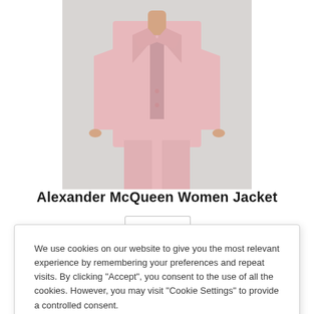[Figure (photo): A woman wearing a pink Alexander McQueen blazer jacket and matching pink trousers, shown from neck to knee against a light gray background.]
Alexander McQueen Women Jacket
We use cookies on our website to give you the most relevant experience by remembering your preferences and repeat visits. By clicking “Accept”, you consent to the use of all the cookies. However, you may visit "Cookie Settings" to provide a controlled consent.